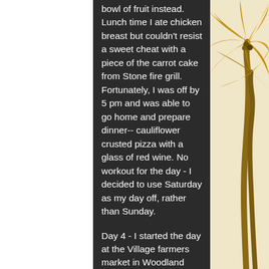bowl of fruit instead. Lunch time I ate chicken breast but couldn't resist a sweet cheat with a piece of the carrot cake from Stone fire grill. Fortunately, I was off by 5 pm and was able to go home and prepare dinner-- cauliflower crusted pizza with a glass of red wine. No workout for the day - I decided to use Saturday as my day off, rather than Sunday.
Day 4 - I started the day at the Village farmers market in Woodland Hills. I stumbled upon many great snacks to stock up for the week including a protein cupcake by Swole Cakes, veggie chips and avocado humm... In the office I passed up bagels a... (my favorite breakfast) for a bowl of fruit
[Figure (illustration): Palm tree illustration with orange and yellow tones on a light beige background, visible on the right side of the page]